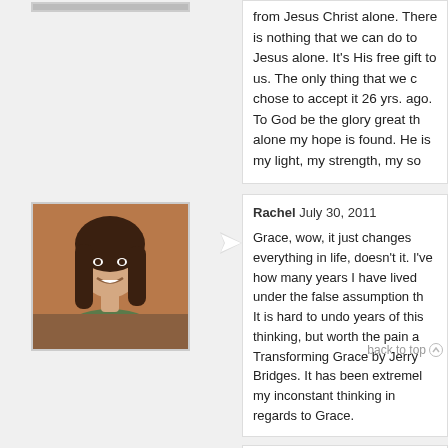from Jesus Christ alone. There is nothing that we can do to. Jesus alone. It's His free gift to us. The only thing that we c. chose to accept it 26 yrs. ago. To God be the glory great th. alone my hope is found. He is my light, my strength, my so.
[Figure (photo): Profile photo of Rachel - woman with dark hair smiling]
Rachel July 30, 2011
Grace, wow, it just changes everything in life, doesn't it. I've how many years I have lived under the false assumption th. It is hard to undo years of this thinking, but worth the pain a. Transforming Grace by Jerry Bridges. It has been extremel. my inconstant thinking in regards to Grace.
[Figure (photo): Profile photo of Sarah - couple embracing, man and woman]
Sarah July 30, 2011
"We want to bring something, do something. But Jesus did who deserve it or have earned it. He came for those who c. message a few months ago that was one of my personal "a. parable of the prodigal son. Only the speaker took the story homecoming. He paralleled how both sons - the prodigal & to offer something to their father to earn his favor. The err.